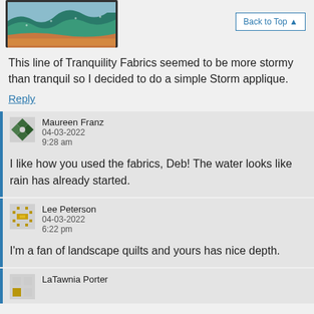[Figure (photo): Partial view of a landscape quilt with teal/green wave patterns and orange/brown base]
Back to Top ▲
This line of Tranquility Fabrics seemed to be more stormy than tranquil so I decided to do a simple Storm applique.
Reply
Maureen Franz
04-03-2022
9:28 am
I like how you used the fabrics, Deb! The water looks like rain has already started.
Lee Peterson
04-03-2022
6:22 pm
I'm a fan of landscape quilts and yours has nice depth.
LaTawnia Porter